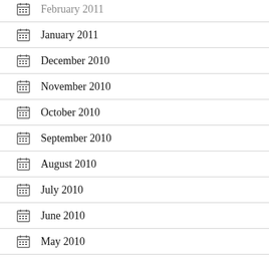February 2011 (partial, top cut off)
January 2011
December 2010
November 2010
October 2010
September 2010
August 2010
July 2010
June 2010
May 2010